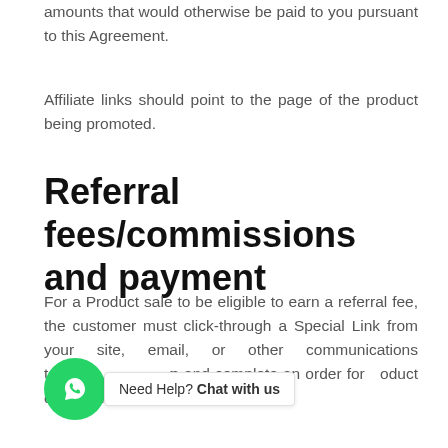amounts that would otherwise be paid to you pursuant to this Agreement.
Affiliate links should point to the page of the product being promoted.
Referral fees/commissions and payment
For a Product sale to be eligible to earn a referral fee, the customer must click-through a Special Link from your site, email, or other communications to [amazon.com/affiliate destination] and complete an order for a product during that session.